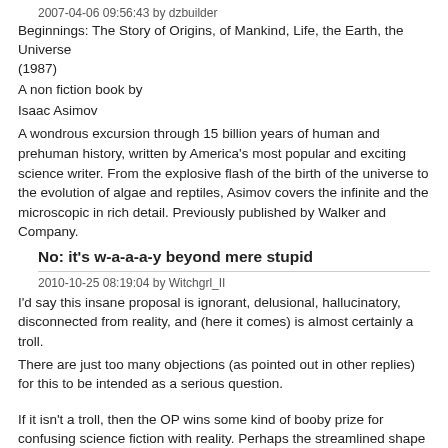2007-04-06 09:56:43 by dzbuilder
Beginnings: The Story of Origins, of Mankind, Life, the Earth, the Universe (1987)
A non fiction book by
Isaac Asimov
A wondrous excursion through 15 billion years of human and prehuman history, written by America's most popular and exciting science writer. From the explosive flash of the birth of the universe to the evolution of algae and reptiles, Asimov covers the infinite and the microscopic in rich detail. Previously published by Walker and Company.
No: it's w-a-a-a-y beyond mere stupid
2010-10-25 08:19:04 by Witchgrl_II
I'd say this insane proposal is ignorant, delusional, hallucinatory, disconnected from reality, and (here it comes) is almost certainly a troll.
There are just too many objections (as pointed out in other replies) for this to be intended as a serious question.
If it isn't a troll, then the OP wins some kind of booby prize for confusing science fiction with reality. Perhaps the streamlined shape of a submarine resonated with all those book covers showing streamlined space ships whizzing about the universe.